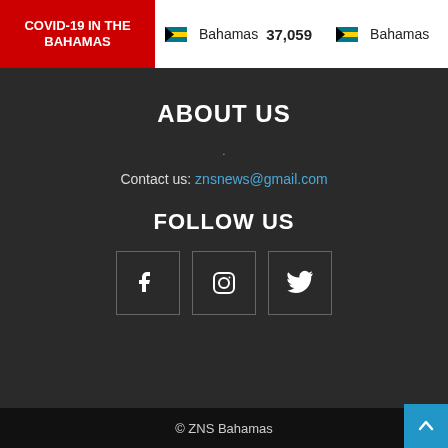COVID-19 IN THE BAHAMAS | Bahamas 37,059 | Bahamas
ABOUT US
.
Contact us: znsnews@gmail.com
FOLLOW US
[Figure (infographic): Three social media icon buttons: Facebook (f), Instagram (camera), Twitter (bird), each in a square outlined box]
© ZNS Bahamas